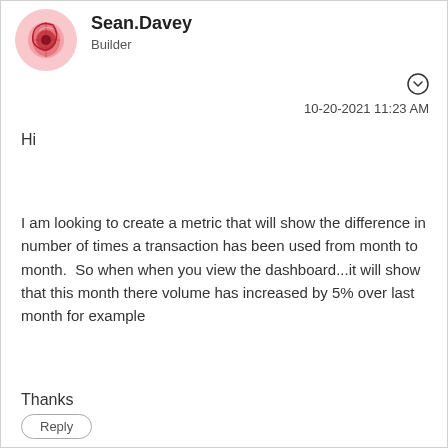[Figure (illustration): Circular avatar with abstract pink and red design]
Sean.Davey
Builder
10-20-2021 11:23 AM
Hi
I am looking to create a metric that will show the difference in number of times a transaction has been used from month to month.  So when when you view the dashboard...it will show that this month there volume has increased by 5% over last month for example
Thanks